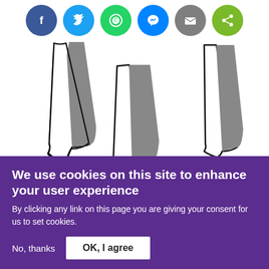[Figure (illustration): Six social sharing buttons in colored circles: Facebook (dark blue), Twitter (light blue), WhatsApp (green), Messenger (blue), Email (gray), Share (green)]
[Figure (illustration): Black and white line drawing of three figures wearing large skirt/dress shapes, with gray shading]
'It's about the Aunties - that army of older women'
It's also not about your spouse, who is merely an
We use cookies on this site to enhance your user experience
By clicking any link on this page you are giving your consent for us to set cookies.
No, thanks   OK, I agree